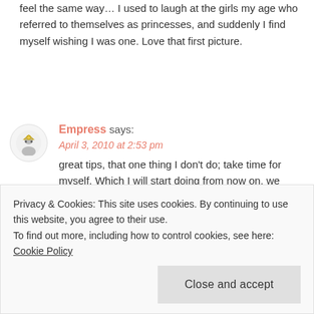feel the same way… I used to laugh at the girls my age who referred to themselves as princesses, and suddenly I find myself wishing I was one. Love that first picture.
Empress says:
April 3, 2010 at 2:53 pm
great tips, that one thing I don't do; take time for myself. Which I will start doing from now on, we deserve it as women. We have a lot on our plates! .-= Empress´s last blog ..Zara Spring 2010 Lookbook Part 2 =-.
Privacy & Cookies: This site uses cookies. By continuing to use this website, you agree to their use.
To find out more, including how to control cookies, see here: Cookie Policy
Close and accept